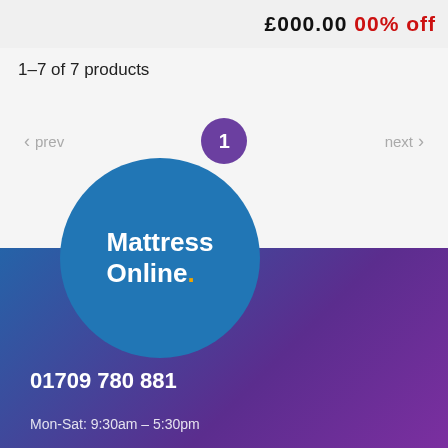1-7 of 7 products
< prev   1   next >
[Figure (logo): Mattress Online logo — white text on a blue circle with a gold dot accent]
01709 780 881
Mon-Sat: 9:30am - 5:30pm